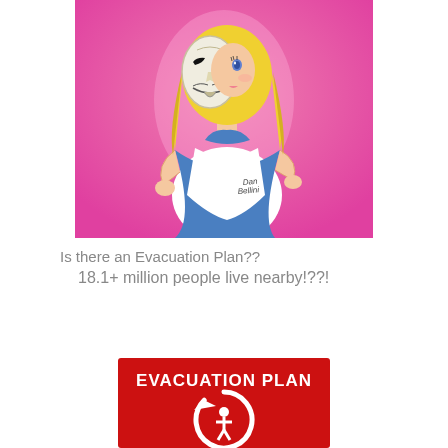[Figure (illustration): Illustration of Alice in Wonderland character holding a Guy Fawkes mask in front of her face, on a pink background. Artist signature reads 'Dan Bellini'.]
Is there an Evacuation Plan??
18.1+ million people live nearby!??!
[Figure (infographic): Red evacuation plan sign with white text 'EVACUATION PLAN' and a circular arrow/person evacuation symbol below it.]